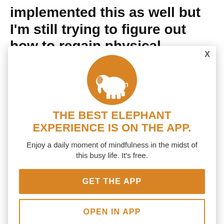implemented this as well but I'm still trying to figure out how to regain physical
[Figure (infographic): Elephant app modal overlay with orange elephant logo circle, promotional text, and two call-to-action buttons]
THE BEST ELEPHANT EXPERIENCE IS ON THE APP.
Enjoy a daily moment of mindfulness in the midst of this busy life. It's free.
GET THE APP
OPEN IN APP